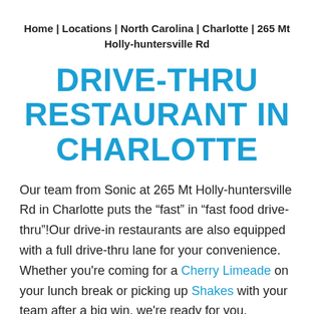Home | Locations | North Carolina | Charlotte | 265 Mt Holly-huntersville Rd
DRIVE-THRU RESTAURANT IN CHARLOTTE
Our team from Sonic at 265 Mt Holly-huntersville Rd in Charlotte puts the “fast” in “fast food drive-thru”!Our drive-in restaurants are also equipped with a full drive-thru lane for your convenience. Whether you're coming for a Cherry Limeade on your lunch break or picking up Shakes with your team after a big win, we're ready for you. Looking to take your food on the go? Visit our drive-thru at 265 Mt Holly-huntersville Rd